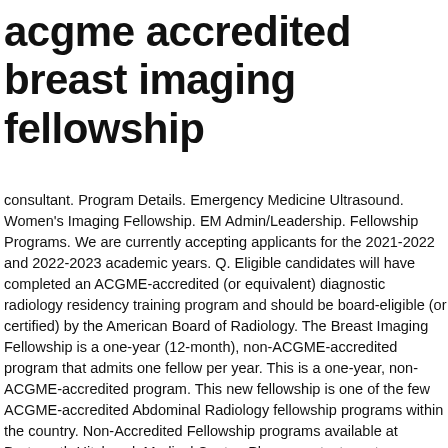acgme accredited breast imaging fellowship
consultant. Program Details. Emergency Medicine Ultrasound. Women's Imaging Fellowship. EM Admin/Leadership. Fellowship Programs. We are currently accepting applicants for the 2021-2022 and 2022-2023 academic years. Q. Eligible candidates will have completed an ACGME-accredited (or equivalent) diagnostic radiology residency training program and should be board-eligible (or certified) by the American Board of Radiology. The Breast Imaging Fellowship is a one-year (12-month), non-ACGME-accredited program that admits one fellow per year. This is a one-year, non-ACGME-accredited program. This new fellowship is one of the few ACGME-accredited Abdominal Radiology fellowship programs within the country. Non-Accredited Fellowship programs available at Dartmouth-Hitchcock Medical Center. Please contact us at fellowbi@uw.edu for application forms and more information. Abdominal Imaging; Breast Imaging; Cardiothoracic Imaging; Emergency Imaging; Neuroradiology (ACGME-accredited) Please click the links on the top of this page for further information on the above listed fellowships. Together, we provide care to the Yale-New Haven Hospital (Level I Trauma Center), Yale New Haven Children's